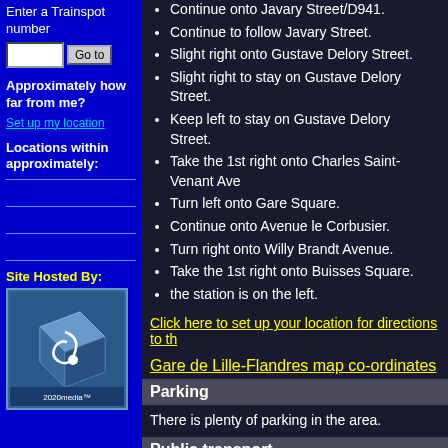Enter a Trainspot number
Approximately how far from me?
Set up my location
Locations within approximately:
Site Hosted By:
Continue onto Javary Street/D941.
Continue to follow Javary Street.
Slight right onto Gustave Delory Street.
Slight right to stay on Gustave Delory Street.
Keep left to stay on Gustave Delory Street.
Take the 1st right onto Charles Saint-Venant Ave.
Turn left onto Gare Square.
Continue onto Avenue le Corbusier.
Turn right onto Willy Brandt Avenue.
Take the 1st right onto Buisses Square.
the station is on the left.
Click here to set up your location for directions to th
Gare de Lille-Flandres map co-ordinates
Parking
There is plenty of parking in the area.
Public transport
You can get here from Paris, Brussel and other par country. You can also travel from London, Paris or Brussel t Europe get off and walk to Lille Flandres.
Click here to set up your location for directions to th
Amenities